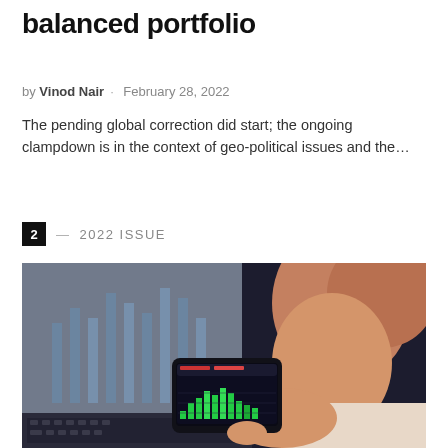balanced portfolio
by Vinod Nair · February 28, 2022
The pending global correction did start; the ongoing clampdown is in the context of geo-political issues and the…
2 — 2022 ISSUE
[Figure (photo): Person holding a smartphone displaying a stock market chart with a green histogram, with a laptop showing bar charts in the background]